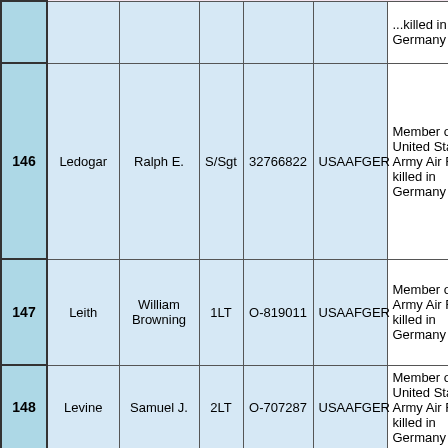| # | Last Name | First Name | Rank | Serial No. | Unit | Notes |
| --- | --- | --- | --- | --- | --- | --- |
|  |  |  |  |  |  | ...killed in Germany |
| 146 | Ledogar | Ralph E. | S/Sgt | 32766822 | USAAFGER | Member of United States Army Air Force, killed in Germany |
| 147 | Leith | William Browning | 1LT | O-819011 | USAAFGER | Member of US Army Air Forces, killed in Germany |
| 148 | Levine | Samuel J. | 2LT | O-707287 | USAAFGER | Member of United States Army Air Force, killed in Germany |